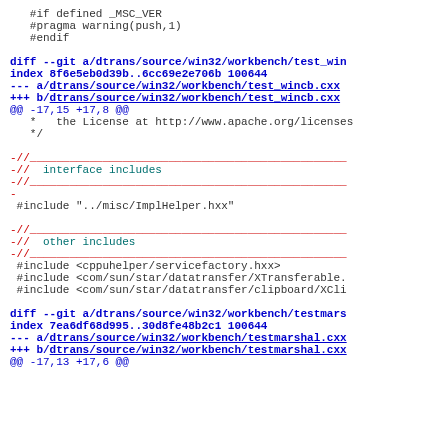#if defined _MSC_VER
#pragma warning(push,1)
#endif

diff --git a/dtrans/source/win32/workbench/test_win
index 8f6e5eb0d39b..6cc69e2e706b 100644
--- a/dtrans/source/win32/workbench/test_wincb.cxx
+++ b/dtrans/source/win32/workbench/test_wincb.cxx
@@ -17,15 +17,8 @@
 *    the License at http://www.apache.org/licenses
 */

-//___________________________________________
-//  interface includes
-//___________________________________________
-
 #include "../misc/ImplHelper.hxx"

-//___________________________________________
-//  other includes
-//___________________________________________
 #include <cppuhelper/servicefactory.hxx>
 #include <com/sun/star/datatransfer/XTransferable.
 #include <com/sun/star/datatransfer/clipboard/XCli

diff --git a/dtrans/source/win32/workbench/testmars
index 7ea6df68d995..30d8fe48b2c1 100644
--- a/dtrans/source/win32/workbench/testmarshal.cxx
+++ b/dtrans/source/win32/workbench/testmarshal.cxx
@@ -17,13 +17,6 @@